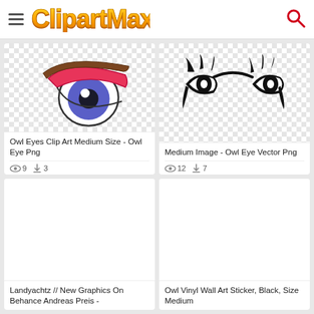ClipartMax
[Figure (illustration): Cartoon anime-style owl eye with blue iris, pink/red eyelid, and brown eyebrow on transparent checkered background]
Owl Eyes Clip Art Medium Size - Owl Eye Png
9 views, 3 downloads
[Figure (illustration): Black tribal/tattoo style owl eyes vector on transparent checkered background]
Medium Image - Owl Eye Vector Png
12 views, 7 downloads
[Figure (illustration): Blank white card placeholder for Landyachtz New Graphics On Behance Andreas Preis]
Landyachtz // New Graphics On Behance Andreas Preis -
[Figure (illustration): Blank white card placeholder for Owl Vinyl Wall Art Sticker Black Size Medium]
Owl Vinyl Wall Art Sticker, Black, Size Medium